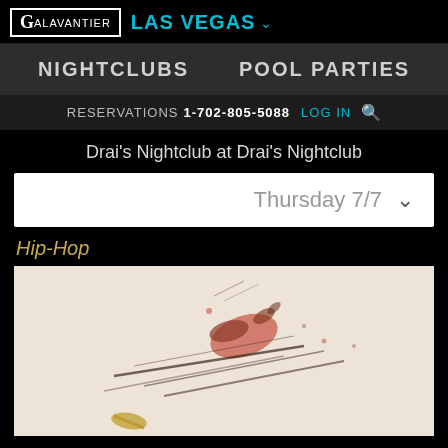GALAVANTIER LAS VEGAS
NIGHTCLUBS   POOL PARTIES
RESERVATIONS 1-702-805-5088 LOG IN
Drai's Nightclub at Drai's Nightclub
Thursday 7/7
Hip-Hop
[Figure (illustration): Event promotional artwork with abstract splatter design on light beige background with gold and red paint strokes]